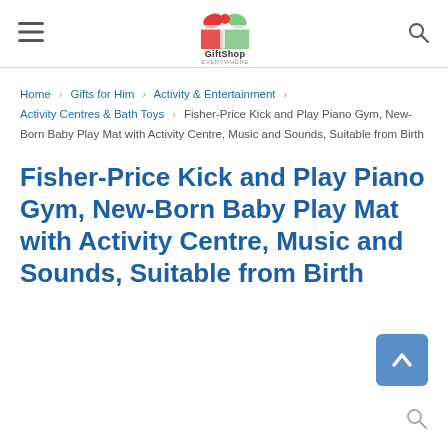GiftShop — navigation header with logo, hamburger menu, and search icon
Home > Gifts for Him > Activity & Entertainment > Activity Centres & Bath Toys > Fisher-Price Kick and Play Piano Gym, New-Born Baby Play Mat with Activity Centre, Music and Sounds, Suitable from Birth
Fisher-Price Kick and Play Piano Gym, New-Born Baby Play Mat with Activity Centre, Music and Sounds, Suitable from Birth